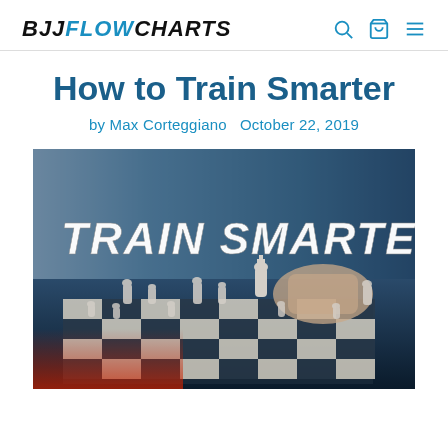BJJFLOWCHARTS
How to Train Smarter
by Max Corteggiano  October 22, 2019
[Figure (photo): A person moving a chess king piece on a chessboard with 'TRAIN SMARTER' text overlaid in white bold italic font on a blue-tinted background.]